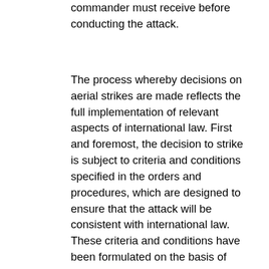commander must receive before conducting the attack.
The process whereby decisions on aerial strikes are made reflects the full implementation of relevant aspects of international law. First and foremost, the decision to strike is subject to criteria and conditions specified in the orders and procedures, which are designed to ensure that the attack will be consistent with international law. These criteria and conditions have been formulated on the basis of preliminary legal advice and they are implemented by the commanders in each and every aerial strike. Furthermore, although not legally required, in certain cases advice is provided in respect of the legality of a specific target. Obviously this type of advice is generally unfeasible during "real time" aerial strikes conducted in response to immediate threats, when the decision to attack a target is required to be reached in fractions of a second.